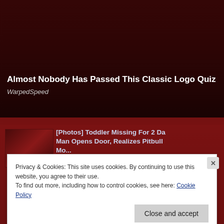[Figure (screenshot): Dark red/maroon background webpage screenshot with a face partially visible in the upper portion]
Almost Nobody Has Passed This Classic Logo Quiz
WarpedSpeed
[Photos] Toddler Missing For 2 Da Man Opens Door, Realizes Pitbull...
Privacy & Cookies: This site uses cookies. By continuing to use this website, you agree to their use.
To find out more, including how to control cookies, see here: Cookie Policy
Close and accept